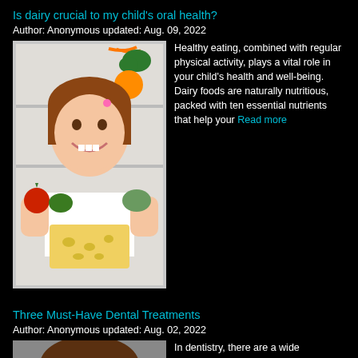Is dairy crucial to my child's oral health?
Author: Anonymous updated: Aug. 09, 2022
[Figure (photo): Young girl holding cheese block, standing in front of open refrigerator filled with fruits and vegetables]
Healthy eating, combined with regular physical activity, plays a vital role in your child's health and well-being. Dairy foods are naturally nutritious, packed with ten essential nutrients that help your Read more
Three Must-Have Dental Treatments
Author: Anonymous updated: Aug. 02, 2022
[Figure (photo): Person's head partially visible at bottom of page]
In dentistry, there are a wide